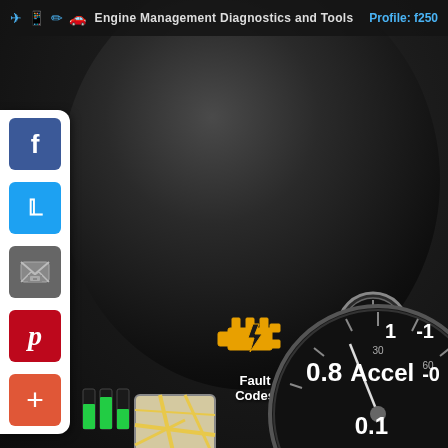Engine Management Diagnostics and Tools   Profile: f250
[Figure (screenshot): Social media sharing panel with Facebook, Twitter, Email, Pinterest, and Add (+) buttons stacked vertically on white rounded panel]
[Figure (infographic): Check engine light icon (orange/yellow engine silhouette with lightning bolt) above label Fault Codes]
Fault Codes
[Figure (infographic): Small circular speedometer gauge icon above Realtime Information label]
Realtime Information
[Figure (map): Map view thumbnail showing road map with yellow roads on light background]
Map View
[Figure (infographic): Large circular speedometer gauge at bottom right showing numbers 1, -1, 0.8, Accel, -0, 0.1 in white text on dark background]
0.8   Accel  -0
0.1